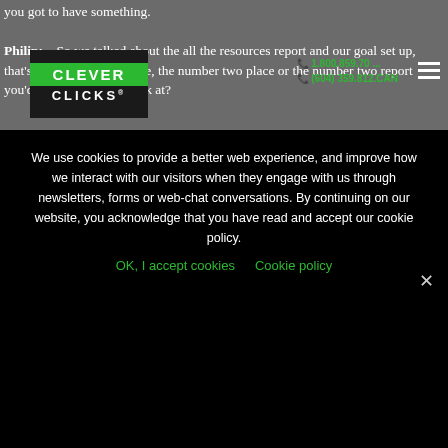you got to have something.
Philip:    So we talked about the all the resources report and our goal set up, that's the number one place, the number two place or the number two report you'd advise people to look at?
[Figure (logo): Clever Clicks logo - green bar with CLEVER text, white CLICKS text below on dark background]
1.800.859.70 | (604) 359.812.CAN
We use cookies to provide a better web experience, and improve how we interact with our visitors when they engage with us through newsletters, forms or web-chat conversations. By continuing on our website, you acknowledge that you have read and accept our cookie policy.
OK, I accept cookies   Cookie policy